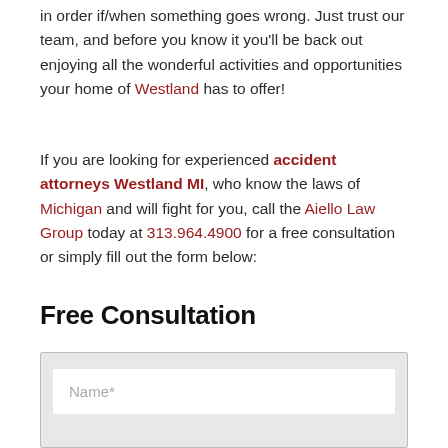in order if/when something goes wrong. Just trust our team, and before you know it you'll be back out enjoying all the wonderful activities and opportunities your home of Westland has to offer!
If you are looking for experienced accident attorneys Westland MI, who know the laws of Michigan and will fight for you, call the Aiello Law Group today at 313.964.4900 for a free consultation or simply fill out the form below:
Free Consultation
Name*